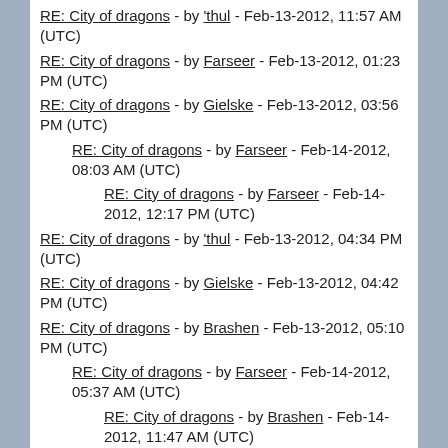RE: City of dragons - by 'thul - Feb-13-2012, 11:57 AM (UTC)
RE: City of dragons - by Farseer - Feb-13-2012, 01:23 PM (UTC)
RE: City of dragons - by Gielske - Feb-13-2012, 03:56 PM (UTC)
RE: City of dragons - by Farseer - Feb-14-2012, 08:03 AM (UTC)
RE: City of dragons - by Farseer - Feb-14-2012, 12:17 PM (UTC)
RE: City of dragons - by 'thul - Feb-13-2012, 04:34 PM (UTC)
RE: City of dragons - by Gielske - Feb-13-2012, 04:42 PM (UTC)
RE: City of dragons - by Brashen - Feb-13-2012, 05:10 PM (UTC)
RE: City of dragons - by Farseer - Feb-14-2012, 05:37 AM (UTC)
RE: City of dragons - by Brashen - Feb-14-2012, 11:47 AM (UTC)
RE: City of dragons - by Gielske - Feb-13-2012, 05:16 PM (UTC)
RE: City of dragons - by Brashen - Feb-13-2012,